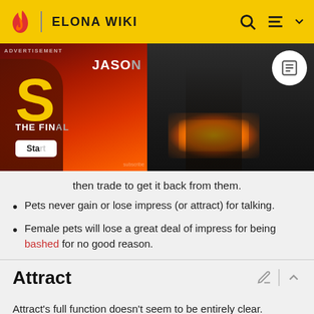ELONA WIKI
[Figure (photo): Advertisement banner split into two parts: left side shows a red/orange movie poster with Jason Momoa and large letter S, right side shows a dark atmospheric scene with a bearded man standing before fire]
then trade to get it back from them.
Pets never gain or lose impress (or attract) for talking.
Female pets will lose a great deal of impress for being bashed for no good reason.
Attract
Attract's full function doesn't seem to be entirely clear.